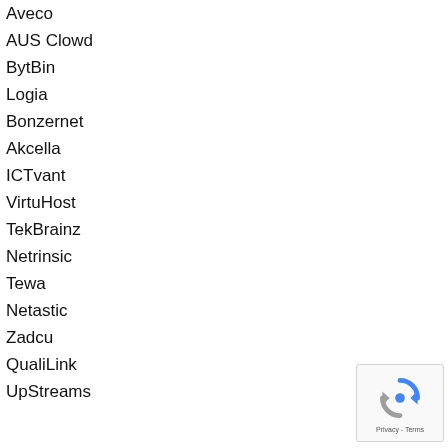Aveco
AUS Clowd
BytBin
Logia
Bonzernet
Akcella
ICTvant
VirtuHost
TekBrainz
Netrinsic
Tewa
Netastic
Zadcu
QualiLink
UpStreams
[Figure (other): reCAPTCHA widget with circular arrow logo and Privacy/Terms text]